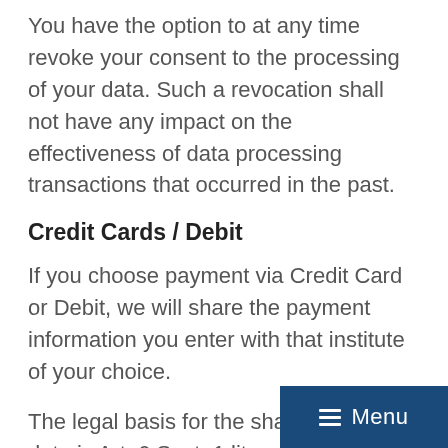You have the option to at any time revoke your consent to the processing of your data. Such a revocation shall not have any impact on the effectiveness of data processing transactions that occurred in the past.
Credit Cards / Debit
If you choose payment via Credit Card or Debit, we will share the payment information you enter with that institute of your choice.
The legal basis for the sharing of your data is Art. 6 Sect. 1 lit. a GDPR (consent) as well as Art. 6 Sect. 1 lit. b GDPR (processing for the fulfilment of a contract). You have the option to at any time revoke your cons...